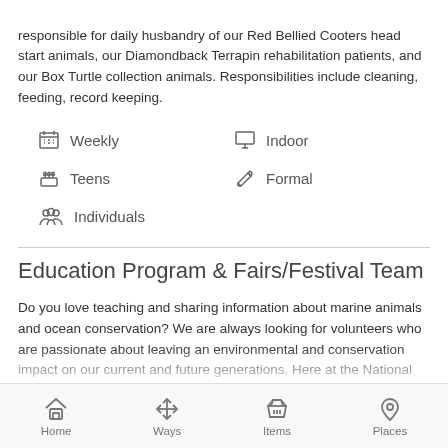responsible for daily husbandry of our Red Bellied Cooters head start animals, our Diamondback Terrapin rehabilitation patients, and our Box Turtle collection animals. Responsibilities include cleaning, feeding, record keeping.
Weekly
Indoor
Teens
Formal
Individuals
Education Program & Fairs/Festival Team
Do you love teaching and sharing information about marine animals and ocean conservation? We are always looking for volunteers who are passionate about leaving an environmental and conservation impact on our current and future generations. Here at the National Marine Life Center, we do so with educational programs and fairs and festivals. Some of our programs include a summer day camp, Girl Scout and Boy Scout programs, school groups, home school groups, community impact, and much more. We use these programs to ad-
Home   Ways   Items   Places